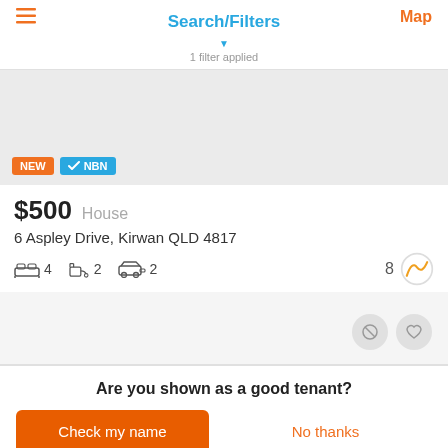Search/Filters
1 filter applied
[Figure (screenshot): Property listing card showing image placeholder with NEW and NBN badges]
$500  House
6 Aspley Drive, Kirwan QLD 4817
4 bedrooms, 2 bathrooms, 2 car spaces, score 8
Are you shown as a good tenant?
Check my name
No thanks